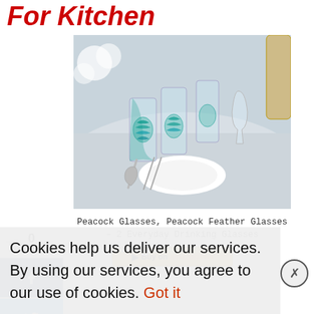For Kitchen
0
SHARES
[Figure (photo): Peacock-feather patterned drinking glasses arranged on a formal table setting with white plates and silverware]
Peacock Glasses, Peacock Feather Glasses – 2 Everyday Drinking Glasses
Cookies help us deliver our services. By using our services, you agree to our use of cookies. Got it
Teal Peacock Mugs